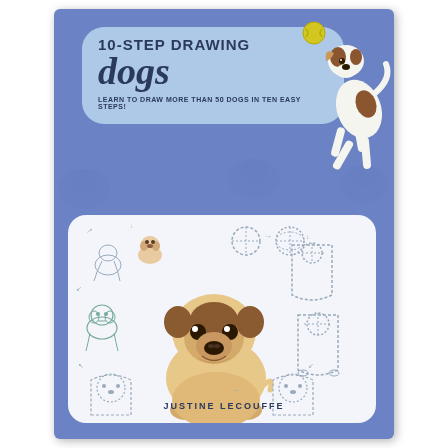10-STEP DRAWING dogs
LEARN TO DRAW MORE THAN 50 DOGS IN TEN EASY STEPS!
[Figure (illustration): Book cover for '10-Step Drawing Dogs' by Justine Lecouffe. Blue/periwinkle background with faint dog watermark pattern. Features a light blue rounded banner with the title '10-STEP DRAWING dogs' in bold dark blue text. A Cavalier King Charles Spaniel illustration on the left of the banner, a jumping Jack Russell Terrier on the right catching a tennis ball. Below is a white rounded panel showing step-by-step drawing instructions for a pug, with sketches progressing from simple shapes to a fully colored pug.]
JUSTINE LECOUFFE